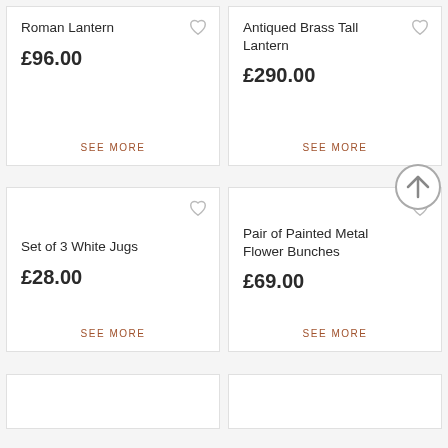Roman Lantern
£96.00
SEE MORE
Antiqued Brass Tall Lantern
£290.00
SEE MORE
Set of 3 White Jugs
£28.00
SEE MORE
Pair of Painted Metal Flower Bunches
£69.00
SEE MORE